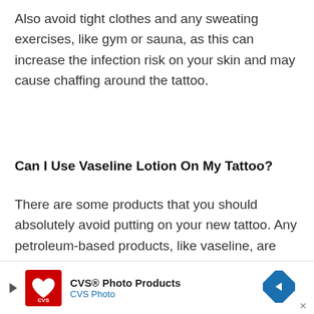Also avoid tight clothes and any sweating exercises, like gym or sauna, as this can increase the infection risk on your skin and may cause chaffing around the tattoo.
Can I Use Vaseline Lotion On My Tattoo?
There are some products that you should absolutely avoid putting on your new tattoo. Any petroleum-based products, like vaseline, are non-porous which can starve the skin of the air it
[Figure (other): CVS Photo Products advertisement banner with CVS pharmacy logo, play button arrow icon, close button, and a blue diamond navigation icon on the right.]